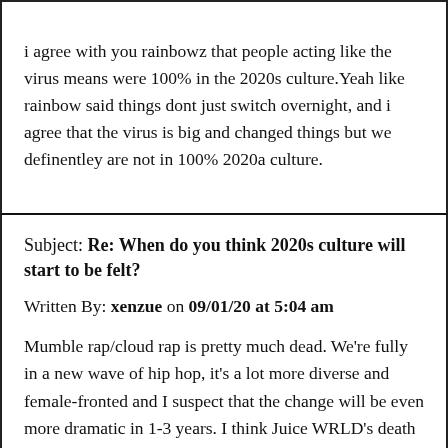i agree with you rainbowz that people acting like the virus means were 100% in the 2020s culture.Yeah like rainbow said things dont just switch overnight, and i agree that the virus is big and changed things but we definentley are not in 100% 2020a culture.
Subject: Re: When do you think 2020s culture will start to be felt?
Written By: xenzue on 09/01/20 at 5:04 am
Mumble rap/cloud rap is pretty much dead. We're fully in a new wave of hip hop, it's a lot more diverse and female-fronted and I suspect that the change will be even more dramatic in 1-3 years. I think Juice WRLD's death was the final nail in the coffin of late 2010s soundcloud era rap. As time goes by I think trap won't exactly so suddenly. More likely it will continue to